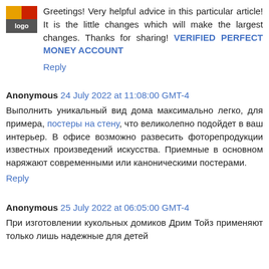Greetings! Very helpful advice in this particular article! It is the little changes which will make the largest changes. Thanks for sharing! VERIFIED PERFECT MONEY ACCOUNT
Reply
Anonymous 24 July 2022 at 11:08:00 GMT-4
Выполнить уникальный вид дома максимально легко, для примера, постеры на стену, что великолепно подойдет в ваш интерьер. В офисе возможно развесить фоторепродукции известных произведений искусства. Приемные в основном наряжают современными или каноническими постерами.
Reply
Anonymous 25 July 2022 at 06:05:00 GMT-4
При изготовлении кукольных домиков Дрим Тойз применяют только лишь надежные для детей